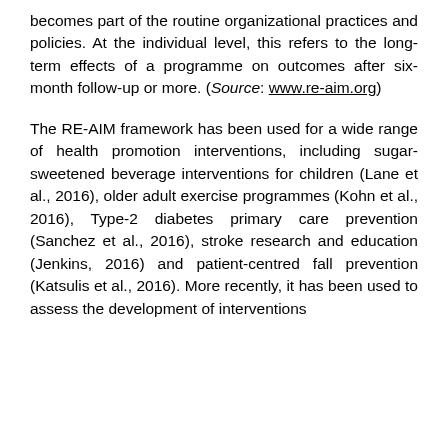becomes part of the routine organizational practices and policies. At the individual level, this refers to the long-term effects of a programme on outcomes after six-month follow-up or more. (Source: www.re-aim.org)
The RE-AIM framework has been used for a wide range of health promotion interventions, including sugar-sweetened beverage interventions for children (Lane et al., 2016), older adult exercise programmes (Kohn et al., 2016), Type-2 diabetes primary care prevention (Sanchez et al., 2016), stroke research and education (Jenkins, 2016) and patient-centred fall prevention (Katsulis et al., 2016). More recently, it has been used to assess the development of interventions